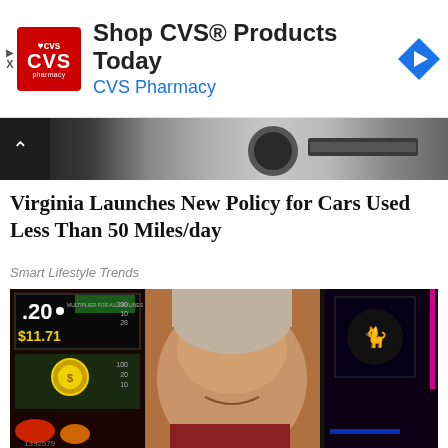[Figure (other): CVS Pharmacy advertisement banner with CVS logo, text 'Shop CVS® Products Today' and 'CVS Pharmacy', and a navigation arrow icon]
[Figure (photo): Partial car interior dashboard photo strip with chevron up icon]
Virginia Launches New Policy for Cars Used Less Than 50 Miles/day
Smart Lifestyle Trends
[Figure (photo): Photo of a middle-aged smiling man in a maroon shirt in front of casino slot machines]